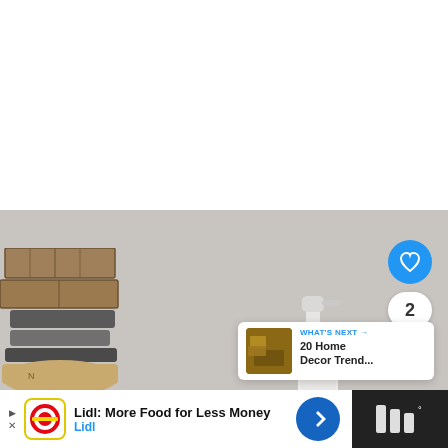[Figure (photo): Top white/blank area of a webpage, approximately half the page height]
[Figure (photo): Photo of stacked wooden boxes/books and folded textiles on the left, a white spray bottle on the right, against a gray background. UI overlay elements include a blue heart/like button, a share button, a count of 2, and a 'What's Next' card showing '20 Home Decor Trend...']
WHAT'S NEXT →
20 Home Decor Trend...
2
[Figure (screenshot): Ad banner at the bottom: Lidl: More Food for Less Money, Lidl branding with navigation arrow icon, and a weather app icon on the right dark section]